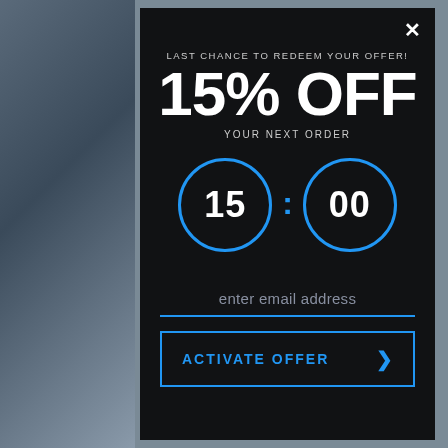[Figure (screenshot): Background with bluish-grey side image and dark modal popup]
×
LAST CHANCE TO REDEEM YOUR OFFER!
15% OFF
YOUR NEXT ORDER
[Figure (infographic): Countdown timer showing 15:00 in blue circular borders]
enter email address
ACTIVATE OFFER